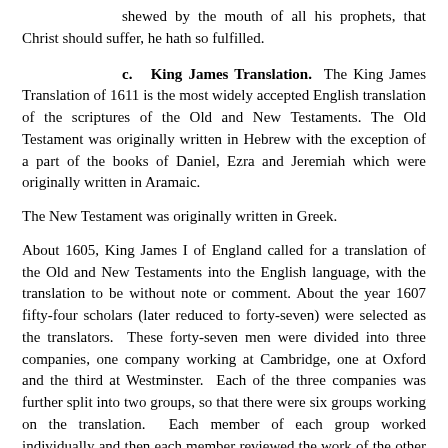shewed by the mouth of all his prophets, that Christ should suffer, he hath so fulfilled.
c. King James Translation. The King James Translation of 1611 is the most widely accepted English translation of the scriptures of the Old and New Testaments. The Old Testament was originally written in Hebrew with the exception of a part of the books of Daniel, Ezra and Jeremiah which were originally written in Aramaic.
The New Testament was originally written in Greek.
About 1605, King James I of England called for a translation of the Old and New Testaments into the English language, with the translation to be without note or comment. About the year 1607 fifty-four scholars (later reduced to forty-seven) were selected as the translators. These forty-seven men were divided into three companies, one company working at Cambridge, one at Oxford and the third at Westminster. Each of the three companies was further split into two groups, so that there were six groups working on the translation. Each member of each group worked individually and then each member reviewed the work of the other members. This resulted in the translation work of each person being reviewed at least fourteen times before it was reviewed by all the